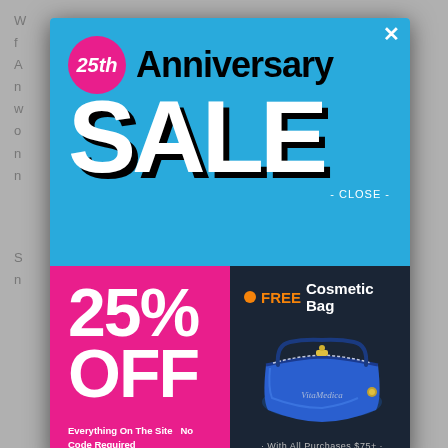[Figure (screenshot): A modal popup advertisement for a 25th Anniversary Sale showing 25% off everything on the site, no code required, and a free cosmetic bag with all purchases $75+. The modal has a blue top section with a pink circle showing '25th', large 'Anniversary' text, and massive white 'SALE' text with black shadow. Bottom left is pink with '25% OFF' text. Bottom right is dark navy with a blue cosmetic bag image branded VitaMedica.]